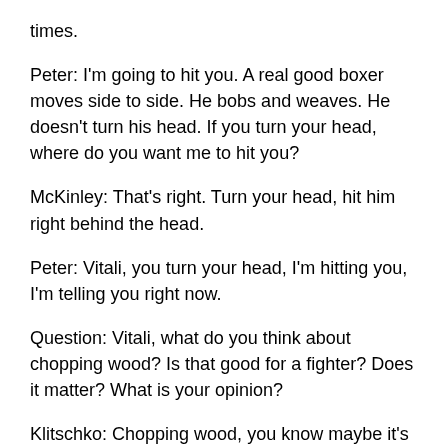times.
Peter: I'm going to hit you. A real good boxer moves side to side. He bobs and weaves. He doesn't turn his head. If you turn your head, where do you want me to hit you?
McKinley: That's right. Turn your head, hit him right behind the head.
Peter: Vitali, you turn your head, I'm hitting you, I'm telling you right now.
Question: Vitali, what do you think about chopping wood? Is that good for a fighter? Does it matter? What is your opinion?
Klitschko: Chopping wood, you know maybe it's good in a movie. If Samuel Peter wants to practice that, I have a lot of land in Siberia, a lot of wood. He'll